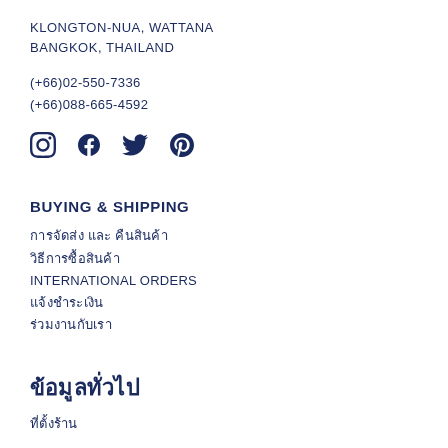KLONGTON-NUA, WATTANA
BANGKOK, THAILAND
(+66)02-550-7336
(+66)088-665-4592
[Figure (illustration): Social media icons: Instagram, Facebook, Twitter, Pinterest]
BUYING & SHIPPING
การจัดส่ง และ คืนสินค้า
วิธีการซื้อสินค้า
INTERNATIONAL ORDERS
แจ้งชำระเงิน
ร่วมงานกับเรา
ข้อมูลทั่วไป
ที่ตั้งร้าน